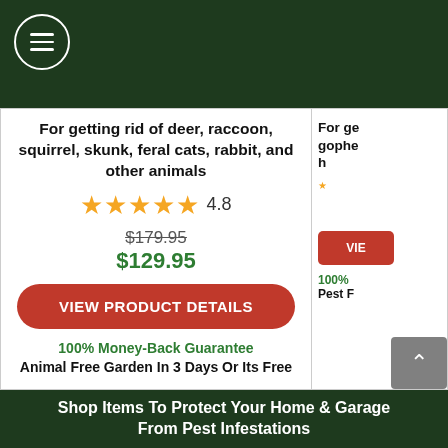[Figure (other): Hamburger menu icon (three horizontal lines) inside a circle, on dark green background]
For getting rid of deer, raccoon, squirrel, skunk, feral cats, rabbit, and other animals
★★★★★ 4.8
$179.95
$129.95
VIEW PRODUCT DETAILS
100% Money-Back Guarantee
Animal Free Garden In 3 Days Or Its Free
For ge...
gophe...
...
VIE...
100%...
Pest F...
Shop Items To Protect Your Home & Garage From Pest Infestations